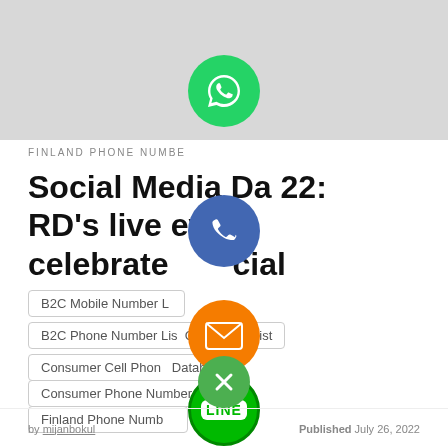[Figure (screenshot): Gray top banner area of a webpage]
FINLAND PHONE NUMBER
Social Media Day 2022: RD's live event celebrate social media …
B2C Mobile Number Li
B2C Phone Number List Cell Phone List
Consumer Cell Phone Database
Consumer Phone Number List
Finland Phone Number
Telephone Leads For Sale
by mijanbokul   Published July 26, 2022